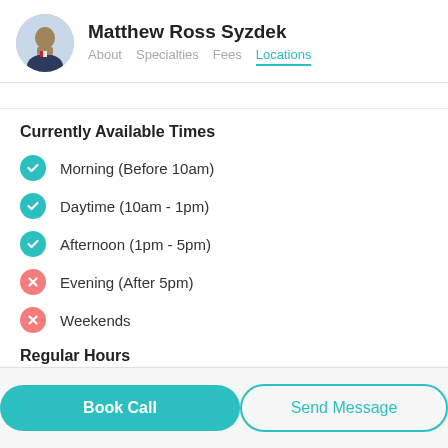Matthew Ross Syzdek — About Specialties Fees Locations
Currently Available Times
Morning (Before 10am) — available
Daytime (10am - 1pm) — available
Afternoon (1pm - 5pm) — available
Evening (After 5pm) — not available
Weekends — not available
Regular Hours
Mon  8:00AM - 5:00PM
Book Call  Send Message